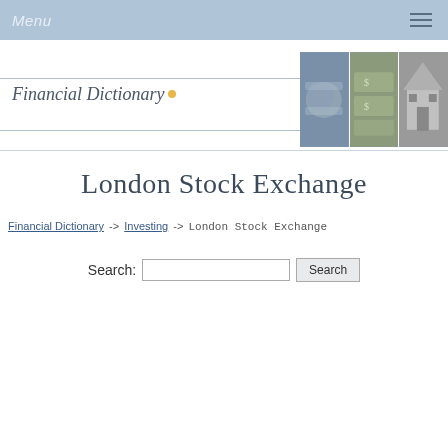Menu
[Figure (screenshot): Financial Dictionary website header banner with italic text 'Financial Dictionary' and a collage of financial photos on the right]
London Stock Exchange
Financial Dictionary -> Investing -> London Stock Exchange
Search: [input] Search